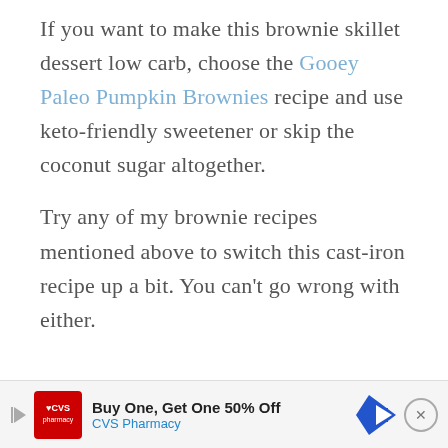If you want to make this brownie skillet dessert low carb, choose the Gooey Paleo Pumpkin Brownies recipe and use keto-friendly sweetener or skip the coconut sugar altogether.
Try any of my brownie recipes mentioned above to switch this cast-iron recipe up a bit. You can't go wrong with either.
JOIN THE COMMUNITY
[Figure (infographic): CVS Pharmacy advertisement banner: Buy One, Get One 50% Off with CVS Pharmacy logo, navigation arrow icon, and close button]